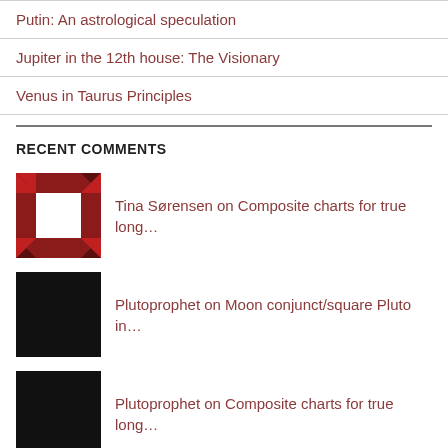Putin: An astrological speculation
Jupiter in the 12th house: The Visionary
Venus in Taurus Principles
RECENT COMMENTS
Tina Sørensen on Composite charts for true long…
Plutoprophet on Moon conjunct/square Pluto in…
Plutoprophet on Composite charts for true long…
Tina Sørensen on Composite charts for true long…
Léa on Moon conjunct/square Pluto in…